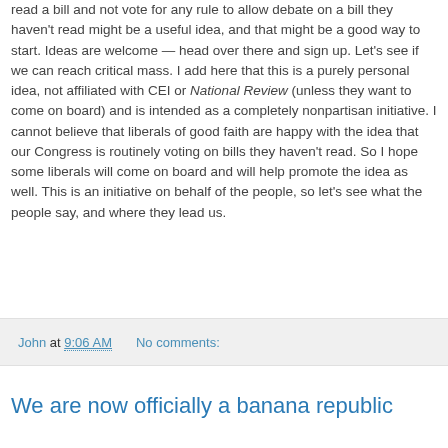read a bill and not vote for any rule to allow debate on a bill they haven't read might be a useful idea, and that might be a good way to start. Ideas are welcome — head over there and sign up. Let's see if we can reach critical mass. I add here that this is a purely personal idea, not affiliated with CEI or National Review (unless they want to come on board) and is intended as a completely nonpartisan initiative. I cannot believe that liberals of good faith are happy with the idea that our Congress is routinely voting on bills they haven't read. So I hope some liberals will come on board and will help promote the idea as well. This is an initiative on behalf of the people, so let's see what the people say, and where they lead us.
John at 9:06 AM   No comments:
We are now officially a banana republic